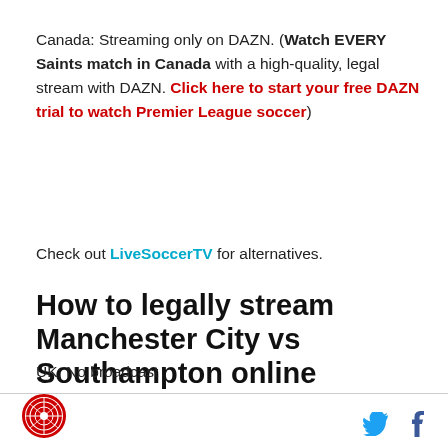Canada: Streaming only on DAZN. (Watch EVERY Saints match in Canada with a high-quality, legal stream with DAZN. Click here to start your free DAZN trial to watch Premier League soccer)
Check out LiveSoccerTV for alternatives.
How to legally stream Manchester City vs Southampton online
UK: No broadcast
USA: Peacock (Want to watch today's game on Peacock? You can sign up here)
[logo] [twitter] [facebook]